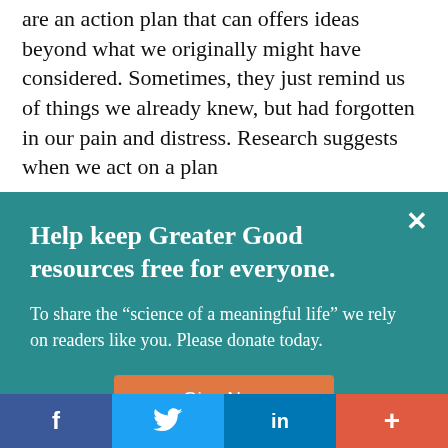are an action plan that can offers ideas beyond what we originally might have considered. Sometimes, they just remind us of things we already knew, but had forgotten in our pain and distress. Research suggests when we act on a plan
Help keep Greater Good resources free for everyone.
To share the “science of a meaningful life” we rely on readers like you. Please donate today.
Give Now
f  [twitter bird]  in  +